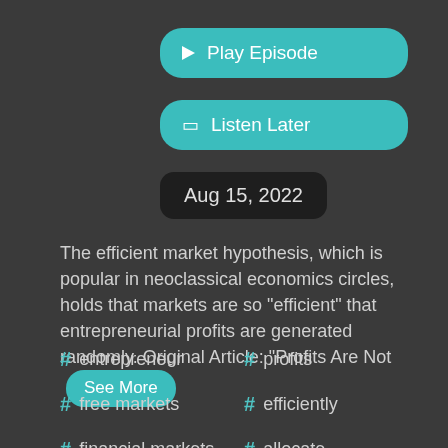▶ Play Episode
☐ Listen Later
Aug 15, 2022
The efficient market hypothesis, which is popular in neoclassical economics circles, holds that markets are so "efficient" that entrepreneurial profits are generated randomly. Original Article: "Profits Are Not See More
# entrepreneur
# profits
# free markets
# efficiently
# financial markets
# allocate